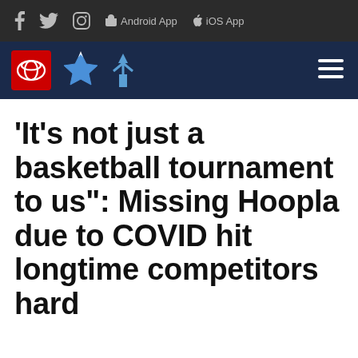f  Twitter  Instagram  Android App  iOS App
[Figure (logo): Navigation bar with Toyota logo, stylized bird/star logo, windmill logo, and hamburger menu on dark navy background]
'It's not just a basketball tournament to us": Missing Hoopla due to COVID hit longtime competitors hard